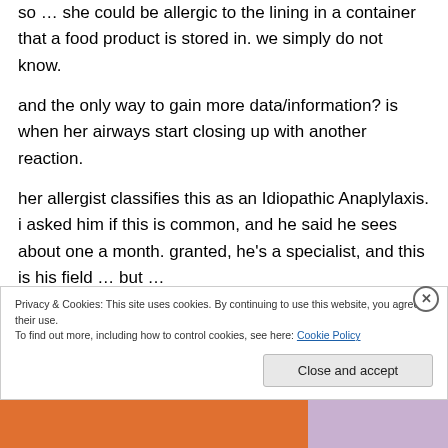so … she could be allergic to the lining in a container that a food product is stored in. we simply do not know.
and the only way to gain more data/information? is when her airways start closing up with another reaction.
her allergist classifies this as an Idiopathic Anaplylaxis. i asked him if this is common, and he said he sees about one a month. granted, he's a specialist, and this is his field … but …
Privacy & Cookies: This site uses cookies. By continuing to use this website, you agree to their use.
To find out more, including how to control cookies, see here: Cookie Policy